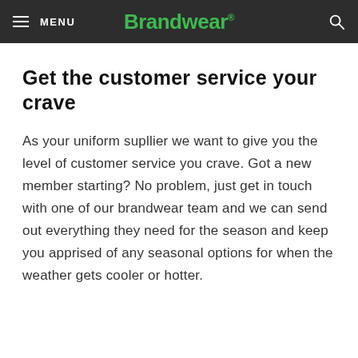MENU  Brandwear®
Get the customer service your crave
As your uniform supllier we want to give you the level of customer service you crave. Got a new member starting? No problem, just get in touch with one of our brandwear team and we can send out everything they need for the season and keep you apprised of any seasonal options for when the weather gets cooler or hotter.